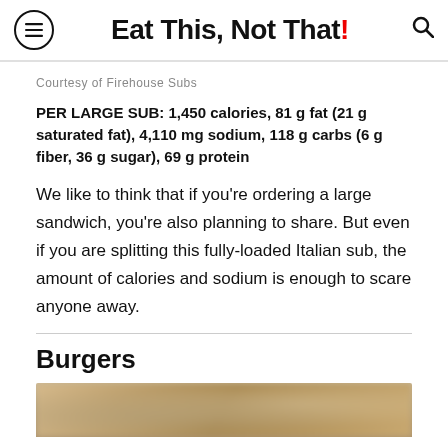Eat This, Not That!
Courtesy of Firehouse Subs
PER LARGE SUB: 1,450 calories, 81 g fat (21 g saturated fat), 4,110 mg sodium, 118 g carbs (6 g fiber, 36 g sugar), 69 g protein
We like to think that if you're ordering a large sandwich, you're also planning to share. But even if you are splitting this fully-loaded Italian sub, the amount of calories and sodium is enough to scare anyone away.
Burgers
[Figure (photo): Blurred photo of a burger or food item]